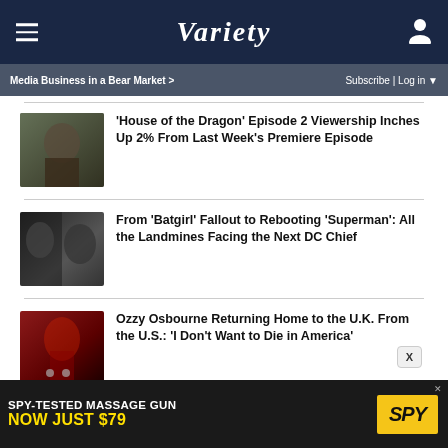VARIETY
Media Business in a Bear Market > | Subscribe | Log in
'House of the Dragon' Episode 2 Viewership Inches Up 2% From Last Week's Premiere Episode
From 'Batgirl' Fallout to Rebooting 'Superman': All the Landmines Facing the Next DC Chief
Ozzy Osbourne Returning Home to the U.K. From the U.S.: 'I Don't Want to Die in America'
SPY-TESTED MASSAGE GUN NOW JUST $79